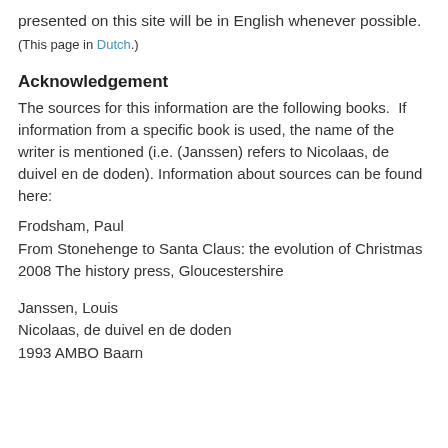presented on this site will be in English whenever possible. (This page in Dutch.)
Acknowledgement
The sources for this information are the following books.  If information from a specific book is used, the name of the writer is mentioned (i.e. (Janssen) refers to Nicolaas, de duivel en de doden). Information about sources can be found here:
Frodsham, Paul
From Stonehenge to Santa Claus: the evolution of Christmas
2008 The history press, Gloucestershire
Janssen, Louis
Nicolaas, de duivel en de doden
1993 AMBO Baarn